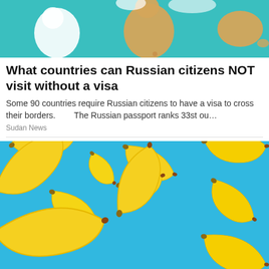[Figure (map): World map on teal/cyan background showing continents in white and highlighted regions in orange/tan, including Africa and Australia visible]
What countries can Russian citizens NOT visit without a visa
Some 90 countries require Russian citizens to have a visa to cross their borders.        The Russian passport ranks 33st ou…
Sudan News
[Figure (photo): Photo of multiple yellow bananas floating/falling against a bright blue background]